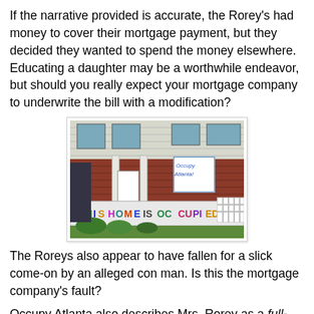If the narrative provided is accurate, the Rorey's had money to cover their mortgage payment, but they decided they wanted to spend the money elsewhere. Educating a daughter may be a worthwhile endeavor,  but should you really expect your mortgage company to underwrite the bill with a modification?
[Figure (photo): Photo of a house with a banner reading 'THIS HOME IS OCCUPIED' and a sign reading 'Occupy Atlanta' visible on the porch. The house has brick and siding exterior.]
The Roreys also appear to have fallen for a slick come-on by an alleged con man. Is this the mortgage company's fault?
Occupy Atlanta also describes Mrs. Rorey as a full-time homemaker. Is this by choice? A lifestyle decision? Again...